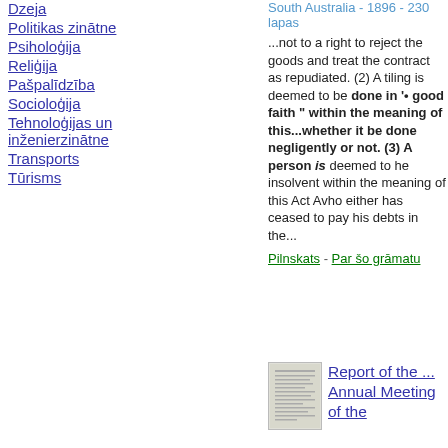Dzeja
Politikas zinātne
Psiholoģija
Reliģija
Pašpalīdzība
Socioloģija
Tehnoloģijas un inženierzinātne
Transports
Tūrisms
South Australia - 1896 - 230 lapas
...not to a right to reject the goods and treat the contract as repudiated. (2) A tiling is deemed to be done in '• good faith " within the meaning of this...whether it be done negligently or not. (3) A person is deemed to he insolvent within the meaning of this Act Avho either has ceased to pay his debts in the...
Pilnskats - Par šo grāmatu
[Figure (other): Thumbnail image of a document/book page]
Report of the ... Annual Meeting of the